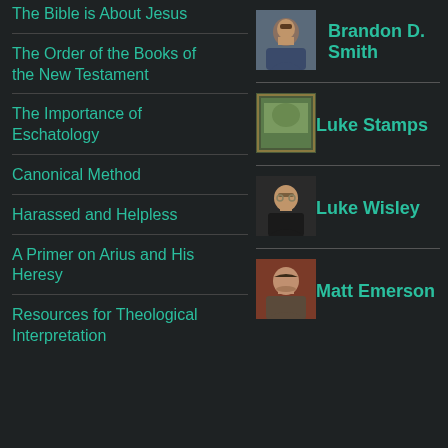The Bible is About Jesus
The Order of the Books of the New Testament
The Importance of Eschatology
Canonical Method
Harassed and Helpless
A Primer on Arius and His Heresy
Resources for Theological Interpretation
[Figure (photo): Headshot of Brandon D. Smith, a man with a beard wearing a blue jacket]
Brandon D. Smith
[Figure (photo): Vintage postage stamp image used as avatar for Luke Stamps]
Luke Stamps
[Figure (photo): Headshot of Luke Wisley, a man in a tuxedo with glasses]
Luke Wisley
[Figure (photo): Headshot of Matt Emerson, a man with dark hair and beard]
Matt Emerson